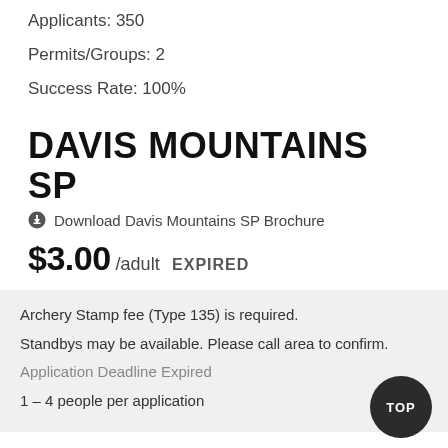Applicants: 350
Permits/Groups: 2
Success Rate: 100%
DAVIS MOUNTAINS SP
Download Davis Mountains SP Brochure
$3.00 /adult   EXPIRED
Archery Stamp fee (Type 135) is required.
Standbys may be available. Please call area to confirm.
Application Deadline Expired
1 – 4 people per application